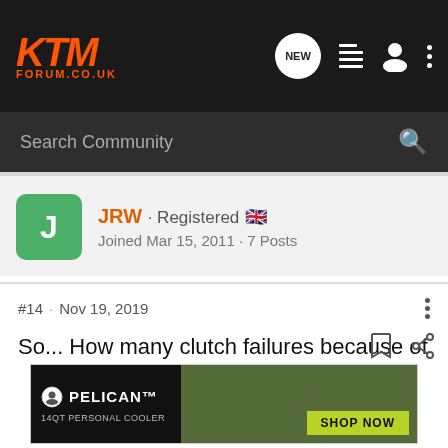KTM FORUM.CO.UK
Search Community
JRW · Registered
Joined Mar 15, 2011 · 7 Posts
#14 · Nov 19, 2019
So... How many clutch failures because of a blocked oil jet have there been?
[Figure (screenshot): Pelican 14QT Personal Cooler advertisement banner with SHOP NOW button]